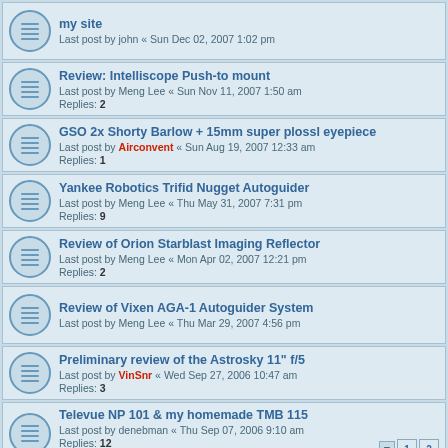my site
Last post by john « Sun Dec 02, 2007 1:02 pm
Review: Intelliscope Push-to mount
Last post by Meng Lee « Sun Nov 11, 2007 1:50 am
Replies: 2
GSO 2x Shorty Barlow + 15mm super plossl eyepiece
Last post by Airconvent « Sun Aug 19, 2007 12:33 am
Replies: 1
Yankee Robotics Trifid Nugget Autoguider
Last post by Meng Lee « Thu May 31, 2007 7:31 pm
Replies: 9
Review of Orion Starblast Imaging Reflector
Last post by Meng Lee « Mon Apr 02, 2007 12:21 pm
Replies: 2
Review of Vixen AGA-1 Autoguider System
Last post by Meng Lee « Thu Mar 29, 2007 4:56 pm
Preliminary review of the Astrosky 11" f/5
Last post by VinSnr « Wed Sep 27, 2006 10:47 am
Replies: 3
Televue NP 101 & my homemade TMB 115
Last post by denebman « Thu Sep 07, 2006 9:10 am
Replies: 12
Canon EF 50mm f/1.8 II lens for Astrophotography
Last post by kingkong « Fri Jul 14, 2006 12:28 am
Replies: 11